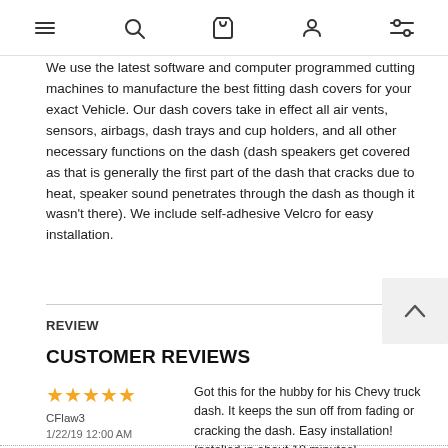[navigation icons: menu, search, bag, user, filter]
We use the latest software and computer programmed cutting machines to manufacture the best fitting dash covers for your exact Vehicle. Our dash covers take in effect all air vents, sensors, airbags, dash trays and cup holders, and all other necessary functions on the dash (dash speakers get covered as that is generally the first part of the dash that cracks due to heat, speaker sound penetrates through the dash as though it wasn't there). We include self-adhesive Velcro for easy installation.
REVIEW
CUSTOMER REVIEWS
★★★★★ CFlaw3 1/22/19 12:00 AM — Got this for the hubby for his Chevy truck dash. It keeps the sun off from fading or cracking the dash. Easy installation! Installed in about 10 minutes!